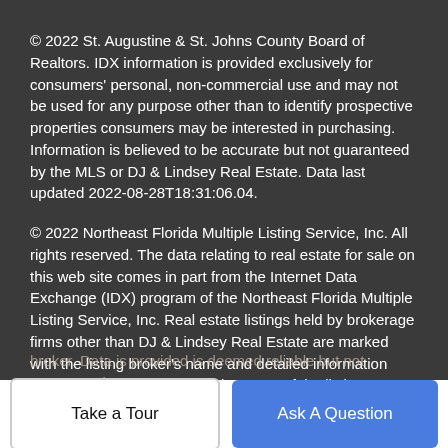© 2022 St. Augustine & St. Johns County Board of Realtors. IDX information is provided exclusively for consumers' personal, non-commercial use and may not be used for any purpose other than to identify prospective properties consumers may be interested in purchasing. Information is believed to be accurate but not guaranteed by the MLS or DJ & Lindsey Real Estate. Data last updated 2022-08-28T18:31:06.04.
© 2022 Northeast Florida Multiple Listing Service, Inc. All rights reserved. The data relating to real estate for sale on this web site comes in part from the Internet Data Exchange (IDX) program of the Northeast Florida Multiple Listing Service, Inc. Real estate listings held by brokerage firms other than DJ & Lindsey Real Estate are marked with the listing broker's name and detailed information about such listings includes the name of the listing broker. Data provided is deemed reliable but not guaranteed.